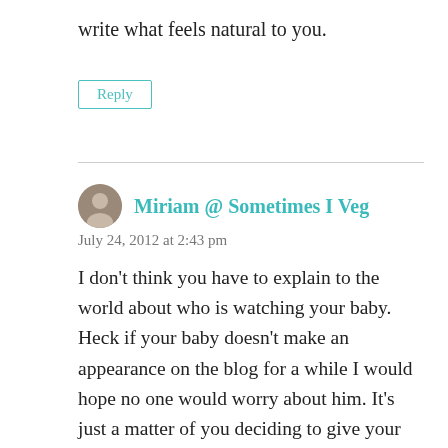write what feels natural to you.
Reply
Miriam @ Sometimes I Veg
July 24, 2012 at 2:43 pm
I don't think you have to explain to the world about who is watching your baby. Heck if your baby doesn't make an appearance on the blog for a while I would hope no one would worry about him. It's just a matter of you deciding to give your baby some privacy.
My husband can't wait to get some one-on-